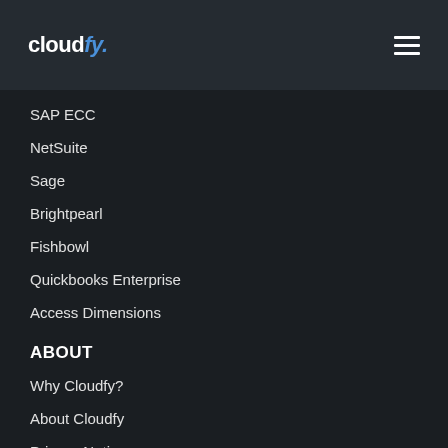cloudfy.
SAP ECC
NetSuite
Sage
Brightpearl
Fishbowl
Quickbooks Enterprise
Access Dimensions
ABOUT
Why Cloudfy?
About Cloudfy
Privacy Notice
Terms & Conditions